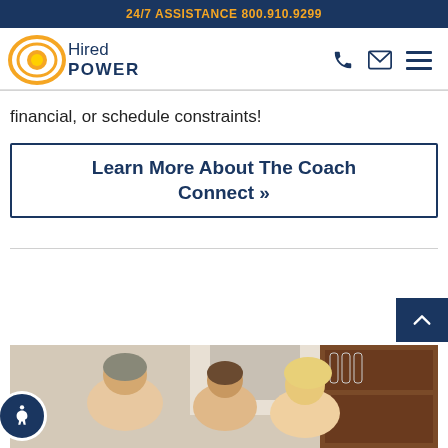24/7 ASSISTANCE 800.910.9299
[Figure (logo): Hired Power logo with orange circular sun graphic and dark blue text]
financial, or schedule constraints!
Learn More About The Coach Connect »
[Figure (photo): Group of adults smiling and talking in a home kitchen/living area setting]